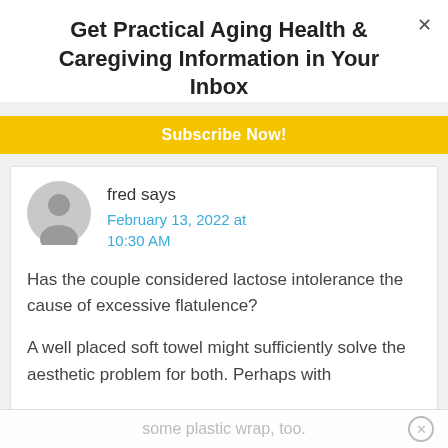Get Practical Aging Health & Caregiving Information in Your Inbox
Subscribe Now!
fred says
February 13, 2022 at 10:30 AM
Has the couple considered lactose intolerance the cause of excessive flatulence?

A well placed soft towel might sufficiently solve the aesthetic problem for both. Perhaps with
some plastic wrap, too.